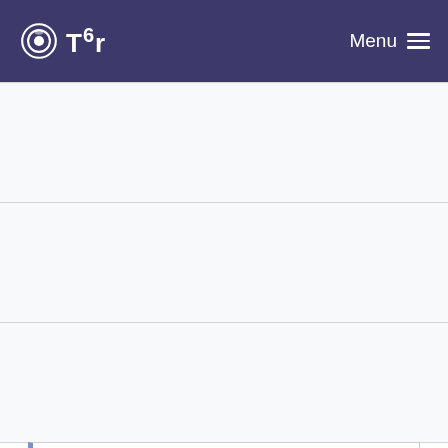Tor | Menu
Use fascist firewall and ClientUseIPv4 for bridge c...
teor (Tim Wilson-Brown) committed 6 years ago